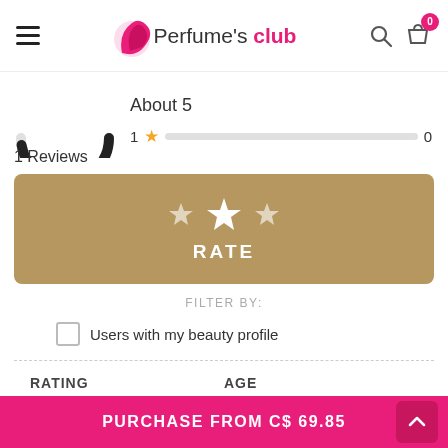Perfume's club
About 5
1 ★  0
1 Reviews
[Figure (other): Rate button area with 3 stars and RATE label on gold background]
FILTER BY:
Users with my beauty profile
RATING
AGE
GENDER
USAGE TIME
PURCHASE FROM C$ 69.85